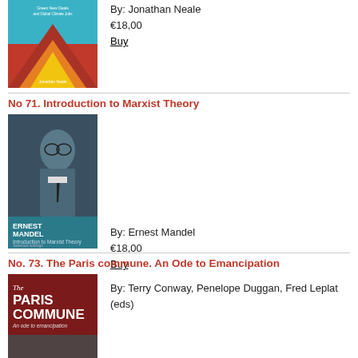[Figure (photo): Book cover with colorful zigzag/chevron pattern in blue, orange, red and yellow]
By: Jonathan Neale
€18,00
Buy
No 71. Introduction to Marxist Theory
[Figure (photo): Book cover showing black and white photo of Ernest Mandel with teal bottom band showing title text]
By: Ernest Mandel
€18,00
Buy
No. 73. The Paris commune. An Ode to Emancipation
[Figure (photo): Book cover showing red background with The Paris Commune title text]
By: Terry Conway, Penelope Duggan, Fred Leplat (eds)